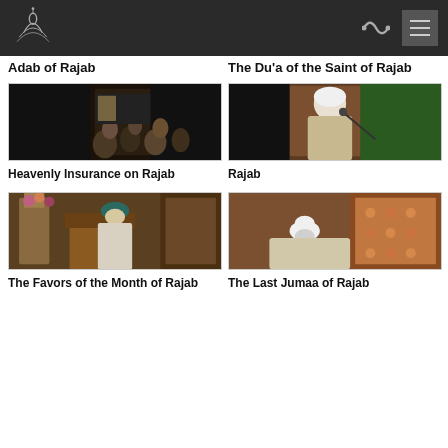Logo / Navigation header
Adab of Rajab
The Du'a of the Saint of Rajab
[Figure (photo): Video thumbnail showing a crowd of people gathered indoors in a mosque-like setting, dark and dimly lit]
Heavenly Insurance on Rajab
[Figure (photo): Video thumbnail showing a scholar with white turban sitting and speaking at a microphone with green decoration in background]
Rajab
[Figure (photo): Video thumbnail showing a scholar in teal turban and white robe standing at a pulpit in ornately decorated mosque]
The Favors of the Month of Rajab
[Figure (photo): Video thumbnail showing an elderly scholar in white turban reclining, with ornate Islamic decoration in background]
The Last Jumaa of Rajab